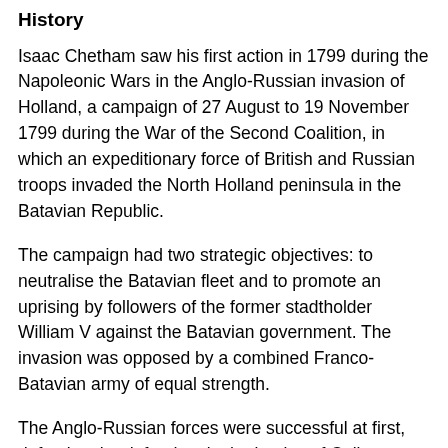History
Isaac Chetham saw his first action in 1799 during the Napoleonic Wars in the Anglo-Russian invasion of Holland, a campaign of 27 August to 19 November 1799 during the War of the Second Coalition, in which an expeditionary force of British and Russian troops invaded the North Holland peninsula in the Batavian Republic.
The campaign had two strategic objectives: to neutralise the Batavian fleet and to promote an uprising by followers of the former stadtholder William V against the Batavian government. The invasion was opposed by a combined Franco-Batavian army of equal strength.
The Anglo-Russian forces were successful at first, defeating the defenders in the battles of Callantsoog and the Krabbendam. Subsequent battles went against the Anglo-Russian forces and following the defeat at Castricum, the Duke of York, the British supreme commander, decided upon a strategic retreat to the original bridgehead in the extreme north of the peninsula. An agreement was negotiated with the